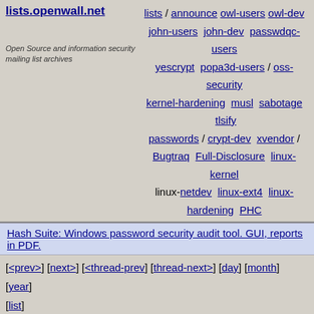lists.openwall.net — Open Source and information security mailing list archives
lists / announce owl-users owl-dev john-users john-dev passwdqc-users yescrypt popa3d-users / oss-security kernel-hardening musl sabotage tlsify passwords / crypt-dev xvendor / Bugtraq Full-Disclosure linux-kernel linux-netdev linux-ext4 linux-hardening PHC
Hash Suite: Windows password security audit tool. GUI, reports in PDF.
[<prev>] [next>] [<thread-prev] [thread-next>] [day] [month] [year] [list]
Date:    Sun, 09 Mar 2014 09:11:36 +0100
From:    Jan Kiszka <jan.kiszka@....de>
To:      Paolo Bonzini <pbonzini@...hat.com>,
linux-kernel@...r.kernel.org
CC:      kvm@...r.kernel.org,
alex.williamson@...hat.com,
         mtosatti@...hat.com, gleb@...nel.org
Subject: Re: [PATCH 0/7] KVM: x86: Let the guest write to multiple debug registers
 with one vmexit